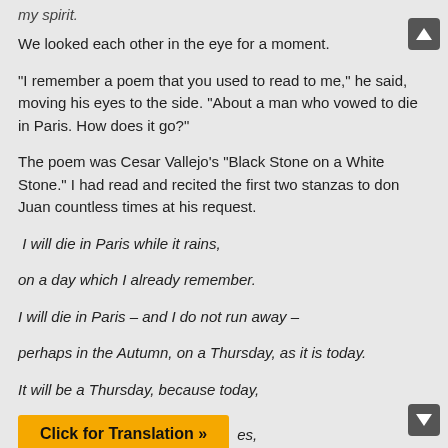my spirit.
We looked each other in the eye for a moment.
“I remember a poem that you used to read to me,” he said, moving his eyes to the side. “About a man who vowed to die in Paris. How does it go?”
The poem was Cesar Vallejo’s “Black Stone on a White Stone.” I had read and recited the first two stanzas to don Juan countless times at his request.
I will die in Paris while it rains,
on a day which I already remember.
I will die in Paris – and I do not run away –
perhaps in the Autumn, on a Thursday, as it is today.
It will be a Thursday, because today,
Click for Translation »
es,